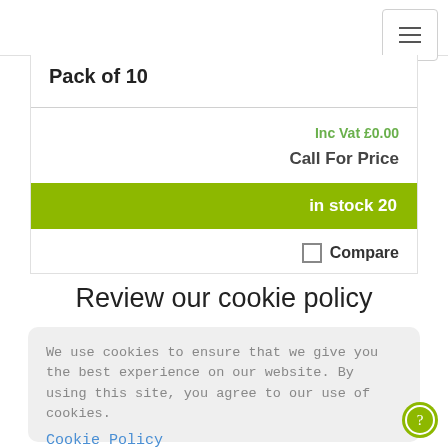[Figure (screenshot): Navigation hamburger menu icon in top right corner]
Pack of 10
Inc Vat £0.00
Call For Price
in stock 20
Compare
Review our cookie policy
We use cookies to ensure that we give you the best experience on our website. By using this site, you agree to our use of cookies. Cookie Policy
Accept